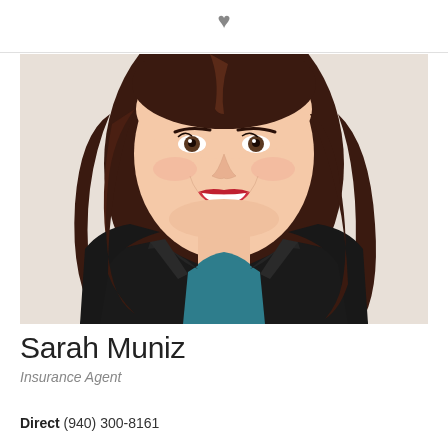[Figure (photo): Professional headshot of Sarah Muniz, a woman with dark red/auburn hair, red lipstick, wearing a black blazer over a teal/blue top, smiling against a light background.]
Sarah Muniz
Insurance Agent
Direct (940) 300-8161